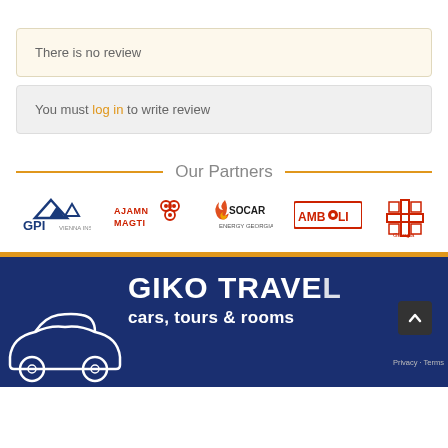There is no review
You must log in to write review
Our Partners
[Figure (logo): Partner logos: GPI (Vienna Insurance Group), Ajamn Magti, SOCAR Energy Georgia, Amboli, Georgia cross logo]
[Figure (illustration): Giko Travel footer banner with car icon outline, dark blue background, text GIKO TRAVEL / cars, tours & rooms, orange bar, scroll-to-top button]